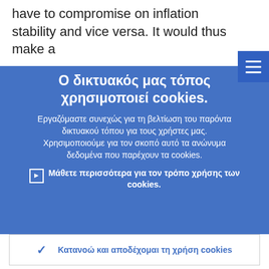have to compromise on inflation stability and vice versa. It would thus make a
Ο δικτυακός μας τόπος χρησιμοποιεί cookies.
Εργαζόμαστε συνεχώς για τη βελτίωση του παρόντα δικτυακού τόπου για τους χρήστες μας. Χρησιμοποιούμε για τον σκοπό αυτό τα ανώνυμα δεδομένα που παρέχουν τα cookies.
▸ Μάθετε περισσότερα για τον τρόπο χρήσης των cookies.
✓ Κατανοώ και αποδέχομαι τη χρήση cookies
✕ Δεν αποδέχομαι τη χρήση cookies